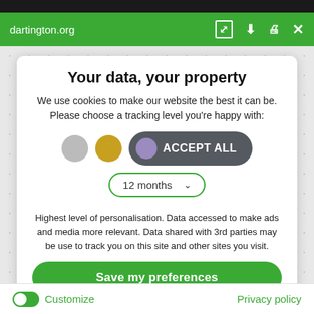dartington.org
Your data, your property
We use cookies to make our website the best it can be. Please choose a tracking level you're happy with:
[Figure (screenshot): Toggle buttons row: grey circle, gold circle, and ACCEPT ALL button with purple circle icon]
[Figure (screenshot): Dropdown selector showing '12 months' with chevron]
Highest level of personalisation. Data accessed to make ads and media more relevant. Data shared with 3rd parties may be use to track you on this site and other sites you visit.
Save my preferences
Customize
Privacy policy